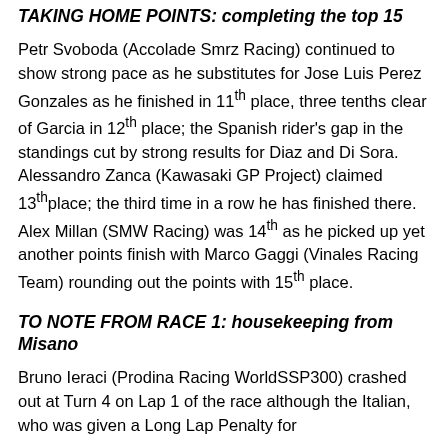TAKING HOME POINTS: completing the top 15
Petr Svoboda (Accolade Smrz Racing) continued to show strong pace as he substitutes for Jose Luis Perez Gonzales as he finished in 11th place, three tenths clear of Garcia in 12th place; the Spanish rider's gap in the standings cut by strong results for Diaz and Di Sora. Alessandro Zanca (Kawasaki GP Project) claimed 13th place; the third time in a row he has finished there. Alex Millan (SMW Racing) was 14th as he picked up yet another points finish with Marco Gaggi (Vinales Racing Team) rounding out the points with 15th place.
TO NOTE FROM RACE 1: housekeeping from Misano
Bruno Ieraci (Prodina Racing WorldSSP300) crashed out at Turn 4 on Lap 1 of the race although the Italian, who was given a Long Lap Penalty for